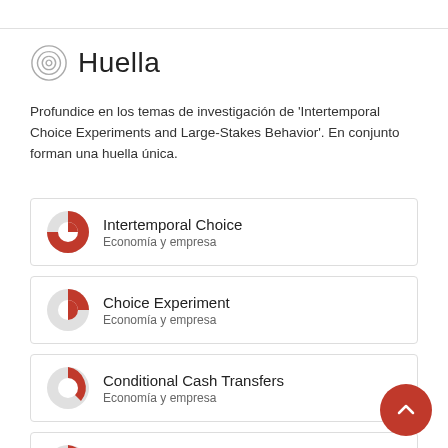Huella
Profundice en los temas de investigación de 'Intertemporal Choice Experiments and Large-Stakes Behavior'. En conjunto forman una huella única.
Intertemporal Choice — Economía y empresa
Choice Experiment — Economía y empresa
Conditional Cash Transfers — Economía y empresa
Payment — Economía y empresa